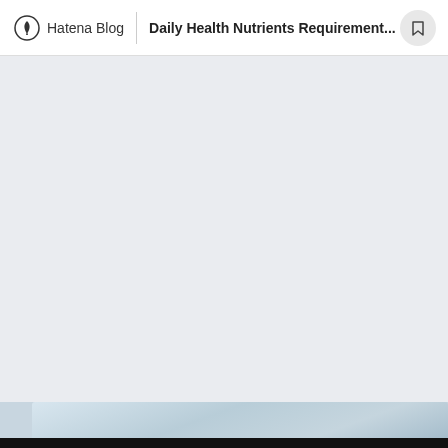Hatena Blog | Daily Health Nutrients Requirement...
[Figure (photo): Light blue-grey background area taking up most of the page below the header navigation bar]
[Figure (photo): Partial photo visible at the bottom of the page showing a light blue/white image, likely medical or health related]